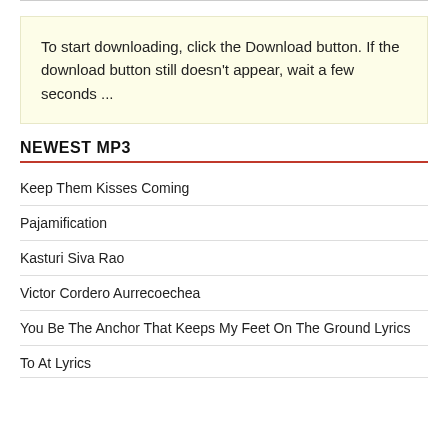To start downloading, click the Download button. If the download button still doesn't appear, wait a few seconds ...
NEWEST MP3
Keep Them Kisses Coming
Pajamification
Kasturi Siva Rao
Victor Cordero Aurrecoechea
You Be The Anchor That Keeps My Feet On The Ground Lyrics
To At Lyrics